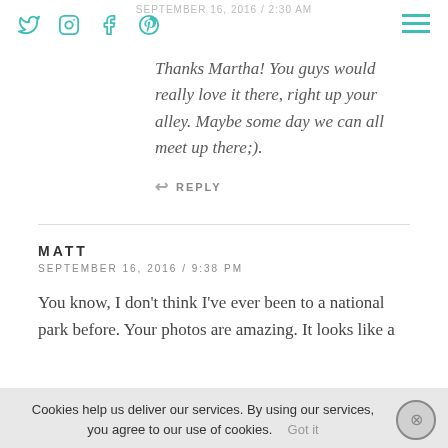SEPTEMBER 16, 2016 / 2:30 AM
Thanks Martha! You guys would really love it there, right up your alley. Maybe some day we can all meet up there;).
↩ REPLY
MATT
SEPTEMBER 16, 2016 / 9:38 PM
You know, I don't think I've ever been to a national park before. Your photos are amazing. It looks like a great place to visit and not so far from me really.
↩ REPLY
FIFI + HOP
Cookies help us deliver our services. By using our services, you agree to our use of cookies. Got it